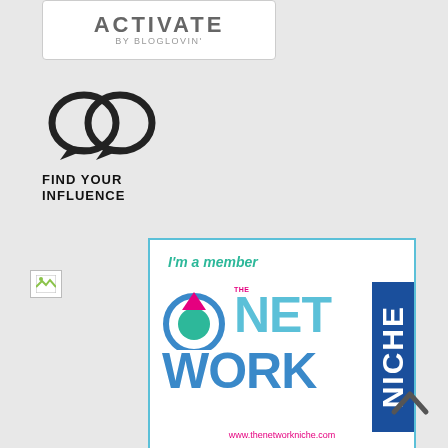[Figure (logo): Activate by Bloglovin' logo in white box with rounded border]
[Figure (logo): Find Your Influence logo with two overlapping chat bubble icons and bold text FIND YOUR INFLUENCE]
[Figure (logo): Broken image placeholder]
[Figure (logo): The Network Niche membership badge - white box with teal border, text I'm a member THE NET WORK NICHE, www.thenetworkniche.com]
[Figure (other): Upward chevron / caret navigation arrow on the right side]